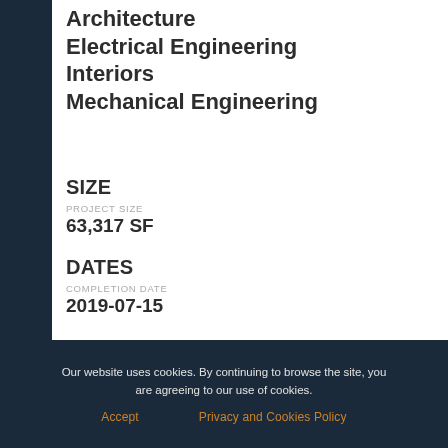Architecture
Electrical Engineering
Interiors
Mechanical Engineering
SIZE
PROJECT SIZE
63,317 SF
DATES
COMPLETION DATE
2019-07-15
COST
PROJECT COST
$21,200,000
CLIENT CONTACT
Scott Wetherbee
Eastern Michigan University
Our website uses cookies. By continuing to browse the site, you are agreeing to our use of cookies.
Accept
Privacy and Cookies Policy